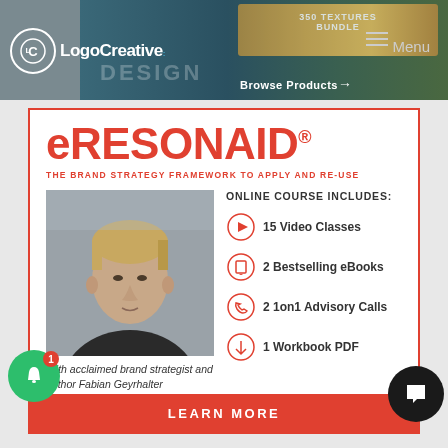[Figure (screenshot): Website header with Logo Creative branding, Browse Products button, Menu, and banner showing design bundles/textures]
eRESONAID®
THE BRAND STRATEGY FRAMEWORK TO APPLY AND RE-USE
[Figure (photo): Portrait photo of Fabian Geyrhalter, a man with short blond hair wearing a dark shirt]
With acclaimed brand strategist and author Fabian Geyrhalter
ONLINE COURSE INCLUDES:
15 Video Classes
2 Bestselling eBooks
2 1on1 Advisory Calls
1 Workbook PDF
LEARN MORE